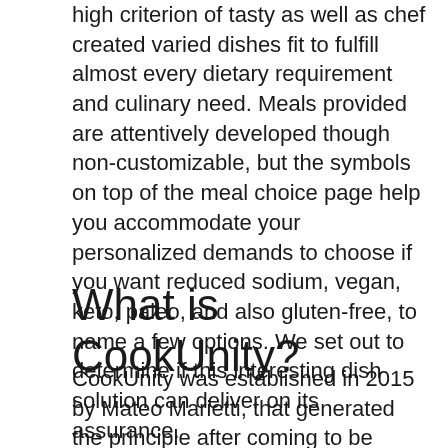high criterion of tasty as well as chef created varied dishes fit to fulfill almost every dietary requirement and culinary need. Meals provided are attentively developed though non-customizable, but the symbols on top of the meal choice page help you accommodate your personalized demands to choose if you want reduced sodium, vegan, keto, paleo, and also gluten-free, to name a few options. We set out to determine if this interesting dish solution can deliver on its assurance.
What is CookUnity?
CookUnity was established in 2015 by Mateo Marietti, that generated the principle after coming to be aggravated with the lack of